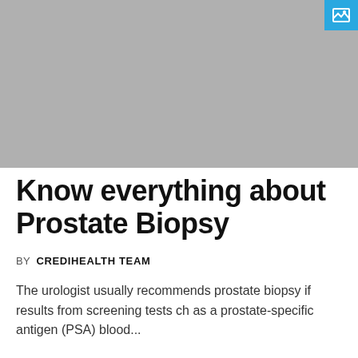[Figure (photo): Gray placeholder image for prostate biopsy article header]
Know everything about Prostate Biopsy
BY  CREDIHEALTH TEAM
The urologist usually recommends prostate biopsy if results from screening tests ch as a prostate-specific antigen (PSA) blood...